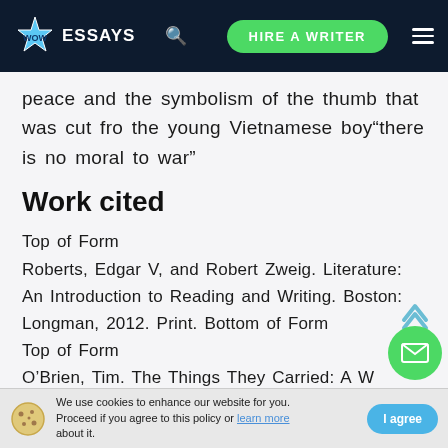[Figure (logo): WOW Essays website header with logo, search icon, HIRE A WRITER button, and hamburger menu on dark navy background]
peace and the symbolism of the thumb that was cut fro the young Vietnamese boy“there is no moral to war”
Work cited
Top of Form
Roberts, Edgar V, and Robert Zweig. Literature: An Introduction to Reading and Writing. Boston: Longman, 2012. Print. Bottom of Form
Top of Form
O’Brien, Tim. The Things They Carried: A Work of Fiction. Boston: Houghton Mifflin, 1990.
We use cookies to enhance our website for you. Proceed if you agree to this policy or learn more about it.